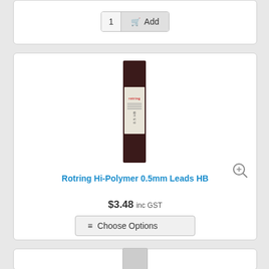[Figure (other): Add to cart button with quantity field showing '1' and an 'Add' button with cart icon, part of a partial product card at top]
[Figure (photo): Rotring Hi-Polymer 0.5mm Leads HB product image — a slim dark maroon/black rectangular pencil lead case with white label showing brand and specifications]
Rotring Hi-Polymer 0.5mm Leads HB
$3.48 inc GST
Choose Options
[Figure (other): Bottom partial product card with a small product thumbnail visible at the bottom of the page]